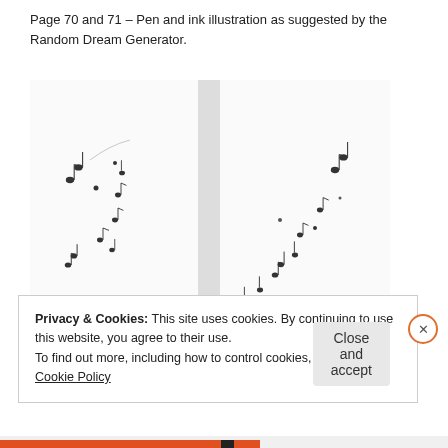Page 70 and 71 – Pen and ink illustration as suggested by the Random Dream Generator.
[Figure (illustration): Open book spread showing scattered pen and ink drawn musical notes floating across both pages, arranged in an arc/wave pattern from lower left to upper right.]
Privacy & Cookies: This site uses cookies. By continuing to use this website, you agree to their use.
To find out more, including how to control cookies, see here: Cookie Policy
Close and accept